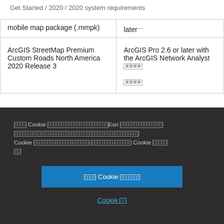Get Started / 2020 / 2020 system requirements
|  |  |
| --- | --- |
| mobile map package (.mmpk) | later… |
| ArcGIS StreetMap Premium Custom Roads North America 2020 Release 3 | ArcGIS Pro 2.6 or later with the ArcGIS Network Analyst [extension] [extension] |
[cookie notice text in non-Latin script] Cookie [text] Esri [text] Cookie [text] Cookie [text]
[button] Cookie [text]
Cookie [text]